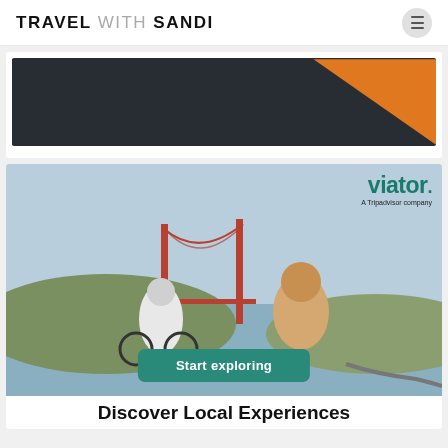TRAVEL WITH SANDI
[Figure (illustration): Dark banner with orange triangle design element in bottom right corner]
[Figure (photo): Viator advertisement featuring Golden Gate Bridge background with couple on bikes, Viator logo (A Tripadvisor company), Start exploring button, and Discover Local Experiences text]
Discover Local Experiences